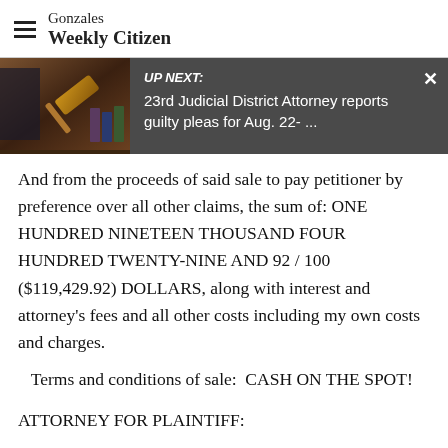Gonzales Weekly Citizen
[Figure (screenshot): UP NEXT banner with gavel image. Text: 'UP NEXT: 23rd Judicial District Attorney reports guilty pleas for Aug. 22- ...' with an X close button.]
And from the proceeds of said sale to pay petitioner by preference over all other claims, the sum of: ONE HUNDRED NINETEEN THOUSAND FOUR HUNDRED TWENTY-NINE AND 92 / 100 ($119,429.92) DOLLARS, along with interest and attorney's fees and all other costs including my own costs and charges.
Terms and conditions of sale:  CASH ON THE SPOT!
ATTORNEY FOR PLAINTIFF: